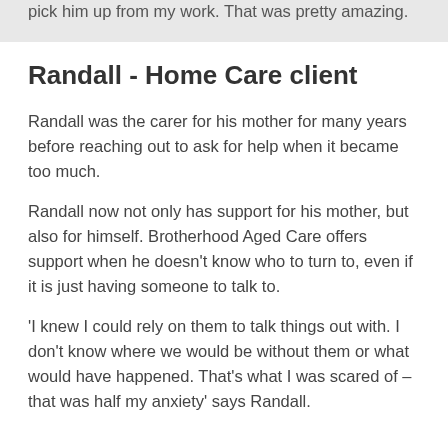pick him up from my work. That was pretty amazing.
Randall - Home Care client
Randall was the carer for his mother for many years before reaching out to ask for help when it became too much.
Randall now not only has support for his mother, but also for himself. Brotherhood Aged Care offers support when he doesn't know who to turn to, even if it is just having someone to talk to.
'I knew I could rely on them to talk things out with. I don't know where we would be without them or what would have happened. That's what I was scared of – that was half my anxiety' says Randall.